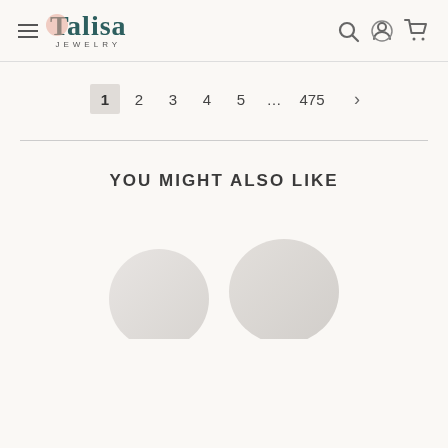[Figure (logo): Talisa Jewelry logo with teal serif text and pink accent shape, plus hamburger menu and icons for search, account, cart]
1  2  3  4  5  …  475  >
YOU MIGHT ALSO LIKE
[Figure (photo): Partial view of jewelry product images at bottom of page]